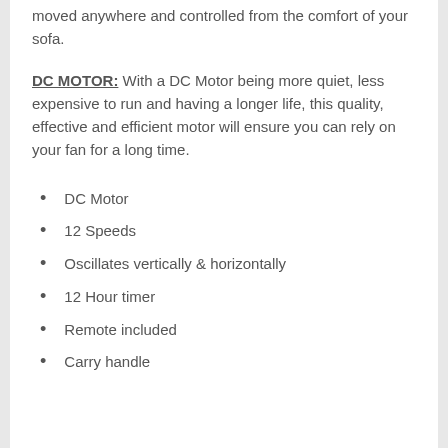moved anywhere and controlled from the comfort of your sofa.
DC MOTOR: With a DC Motor being more quiet, less expensive to run and having a longer life, this quality, effective and efficient motor will ensure you can rely on your fan for a long time.
DC Motor
12 Speeds
Oscillates vertically & horizontally
12 Hour timer
Remote included
Carry handle